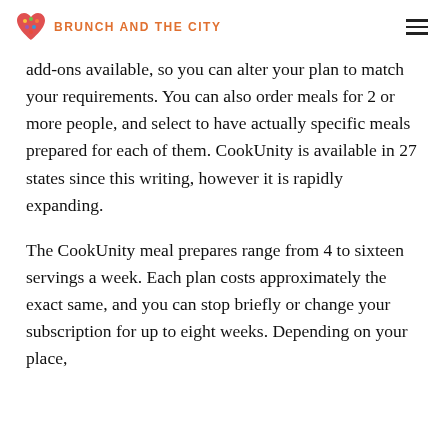BRUNCH AND THE CITY
add-ons available, so you can alter your plan to match your requirements. You can also order meals for 2 or more people, and select to have actually specific meals prepared for each of them. CookUnity is available in 27 states since this writing, however it is rapidly expanding.
The CookUnity meal prepares range from 4 to sixteen servings a week. Each plan costs approximately the exact same, and you can stop briefly or change your subscription for up to eight weeks. Depending on your place,